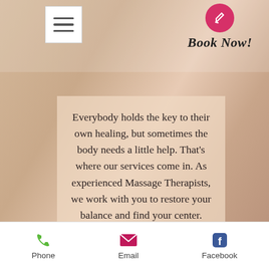[Figure (screenshot): Mobile website screenshot with massage therapy background photo showing hands on a back, peach/tan tones]
[Figure (other): Hamburger menu button (three horizontal lines) in white square with border, top left navigation]
[Figure (other): Book Now button with pink/crimson circle containing pencil icon, with script text 'Book Now!' below]
Everybody holds the key to their own healing, but sometimes the body needs a little help. That's where our services come in. As experienced Massage Therapists, we work with you to restore your balance and find your center.
Phone   Email   Facebook